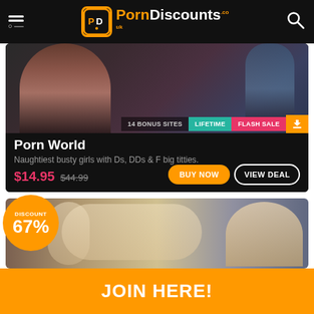PornDiscounts.co.uk
[Figure (photo): Product listing card for Porn World with image, badge labels (14 Bonus Sites, Lifetime, Flash Sale, download), title, description, pricing and buttons]
Porn World
Naughtiest busty girls with Ds, DDs & F big titties.
$14.95
$44.99
BUY NOW   VIEW DEAL
[Figure (photo): Second listing card with a discount badge showing 67% off, featuring a lifestyle photo]
DISCOUNT 67%
JOIN HERE!